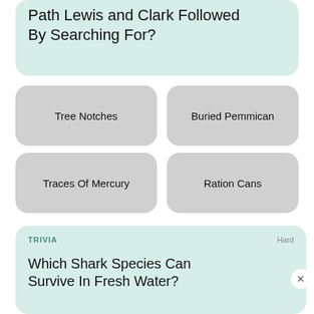Path Lewis and Clark Followed By Searching For?
Tree Notches
Buried Pemmican
Traces Of Mercury
Ration Cans
TRIVIA
Hard
Which Shark Species Can Survive In Fresh Water?